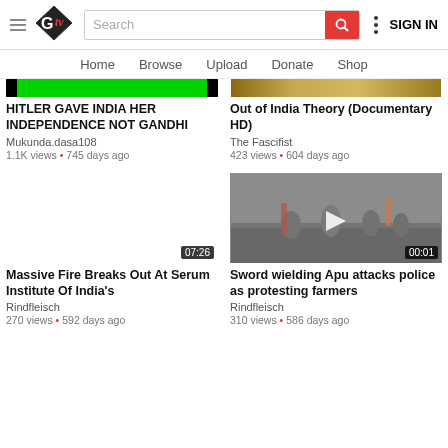GTV | Search | SIGN IN | Home | Browse | Upload | Donate | Shop
[Figure (screenshot): Video thumbnail with green progress bar at top]
HITLER GAVE INDIA HER INDEPENDENCE NOT GANDHI
Mukunda.dasa108
1.1K views • 745 days ago
[Figure (screenshot): Video thumbnail with gold/yellow image at top]
Out of India Theory (Documentary HD)
The Fascifist
423 views • 604 days ago
[Figure (screenshot): Video thumbnail showing protest scene with duration 07:26]
Massive Fire Breaks Out At Serum Institute Of India's
Rindfleisch
270 views • 592 days ago
[Figure (screenshot): Video thumbnail showing sword wielding scene, duration 00:01]
Sword wielding Apu attacks police as protesting farmers
Rindfleisch
310 views • 586 days ago